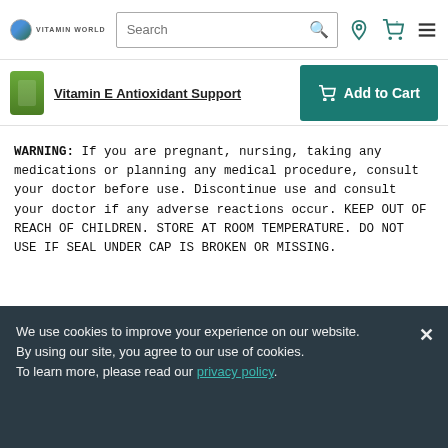Vitamin World — Search bar, location icon, cart icon (0), menu icon
Vitamin E Antioxidant Support — Add to Cart
WARNING: If you are pregnant, nursing, taking any medications or planning any medical procedure, consult your doctor before use. Discontinue use and consult your doctor if any adverse reactions occur. KEEP OUT OF REACH OF CHILDREN. STORE AT ROOM TEMPERATURE. DO NOT USE IF SEAL UNDER CAP IS BROKEN OR MISSING.
TIPS AND TRICKS
We use cookies to improve your experience on our website.
By using our site, you agree to our use of cookies.
To learn more, please read our privacy policy.